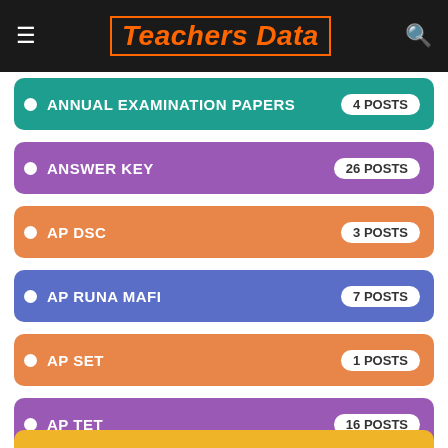Teachers Data
ANNUAL EXAMINATION PAPERS — 4 POSTS
ANSWER KEY — 26 POSTS
AP DSC — 3 POSTS
AP RUNA MAFI — 7 POSTS
AP SET — 1 POSTS
AP TET — 16 POSTS
APGLI — 3 POSTS